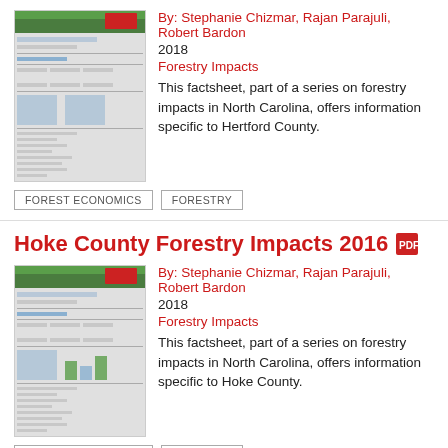By: Stephanie Chizmar, Rajan Parajuli, Robert Bardon
2018
Forestry Impacts
This factsheet, part of a series on forestry impacts in North Carolina, offers information specific to Hertford County.
FOREST ECONOMICS
FORESTRY
Hoke County Forestry Impacts 2016
By: Stephanie Chizmar, Rajan Parajuli, Robert Bardon
2018
Forestry Impacts
This factsheet, part of a series on forestry impacts in North Carolina, offers information specific to Hoke County.
FOREST ECONOMICS
FORESTRY